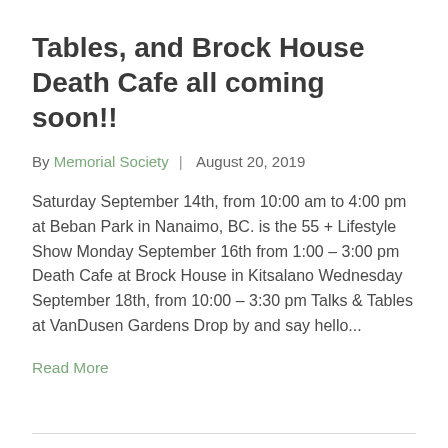Tables, and Brock House Death Cafe all coming soon!!
By Memorial Society  |  August 20, 2019
Saturday September 14th, from 10:00 am to 4:00 pm at Beban Park in Nanaimo, BC. is the 55 + Lifestyle Show Monday September 16th from 1:00 – 3:00 pm Death Cafe at Brock House in Kitsalano Wednesday September 18th, from 10:00 – 3:30 pm Talks & Tables at VanDusen Gardens Drop by and say hello...
Read More